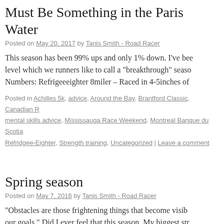Must Be Something in the Paris Water
Posted on May 20, 2017 by Tanis Smith - Road Racer
This season has been 99% ups and only 1% down. I've bee level which we runners like to call a "breakthrough" seaso Numbers: Refrigeeeighter 8miler – Raced in 4-5inches of
Posted in Achilles 5k, advice, Around the Bay, Brantford Classic, Canadian R, mental skills advice, Mississauga Race Weekend, Montreal Banque du Scotia, Refridgee-Eighter, Strength training, Uncategorized | Leave a comment
Spring season
Posted on May 7, 2016 by Tanis Smith - Road Racer
“Obstacles are those frightening things that become visib our goals.” Did I ever feel that this season. My biggest str to get myself back “on” mentally. But, I’m getting … Cont
Posted in Chilly Half, Engagement, mental skills advice, Mississauga Race We, nutrition, race recap, Race Roster Spring Run Off, Refridgee-Eighter, train